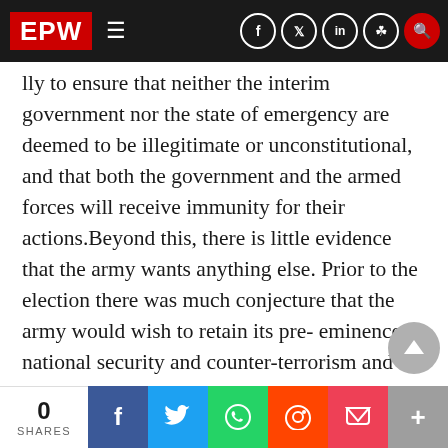EPW
lly to ensure that neither the interim government nor the state of emergency are deemed to be illegitimate or unconstitutional, and that both the government and the armed forces will receive immunity for their actions.Beyond this, there is little evidence that the army wants anything else. Prior to the election there was much conjecture that the army would wish to retain its pre- eminence in national security and counter-terrorism and I doubt that there would be much opposition within the new govern-ment for such an arrangement It is possible that the army wi want to retain a hold on matters such as law a
0 SHARES  f  twitter  whatsapp  reddit  pocket  +